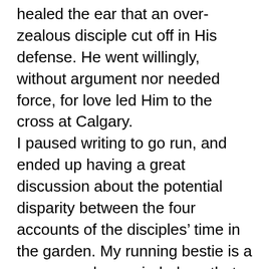healed the ear that an over-zealous disciple cut off in His defense. He went willingly, without argument nor needed force, for love led Him to the cross at Calgary. I paused writing to go run, and ended up having a great discussion about the potential disparity between the four accounts of the disciples' time in the garden. My running bestie is a nurse, so she reminded me that Luke was a doctor. Between us, we recognized that the other accounts were recorded by fishermen, who likely felt bad for falling asleep, and simply recorded that alone. Luke, however, from a physician's standpoint, was the most likely to recognize the toll that grief and sorrow take on the body, and